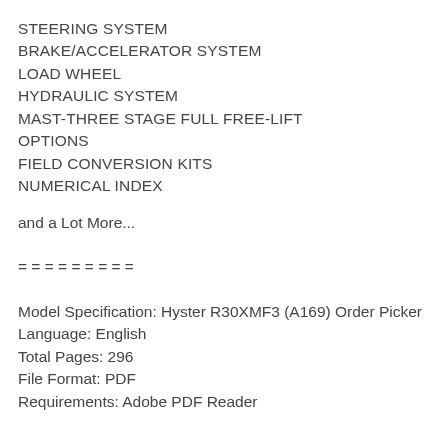STEERING SYSTEM
BRAKE/ACCELERATOR SYSTEM
LOAD WHEEL
HYDRAULIC SYSTEM
MAST-THREE STAGE FULL FREE-LIFT
OPTIONS
FIELD CONVERSION KITS
NUMERICAL INDEX
and a Lot More...
= = = = = = = = =
Model Specification: Hyster R30XMF3 (A169) Order Picker
Language: English
Total Pages: 296
File Format: PDF
Requirements: Adobe PDF Reader